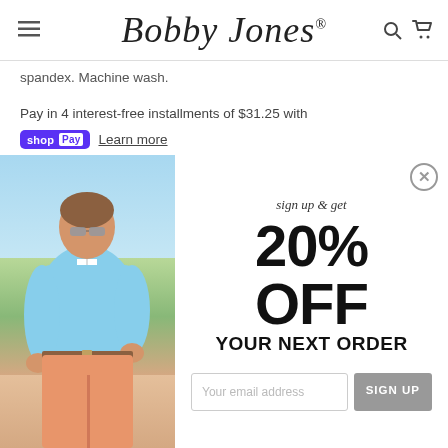Bobby Jones
spandex. Machine wash.
Pay in 4 interest-free installments of $31.25 with
shopPay  Learn more
[Figure (photo): Popup modal overlay showing a man in a light blue pullover sweater and salmon chinos with sunglasses, with a promotional sign-up offer of 20% OFF YOUR NEXT ORDER and an email sign-up field.]
sign up & get
20% OFF
YOUR NEXT ORDER
Your email address
SIGN UP